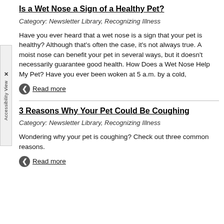Is a Wet Nose a Sign of a Healthy Pet?
Category: Newsletter Library, Recognizing Illness
Have you ever heard that a wet nose is a sign that your pet is healthy? Although that's often the case, it's not always true. A moist nose can benefit your pet in several ways, but it doesn't necessarily guarantee good health. How Does a Wet Nose Help My Pet? Have you ever been woken at 5 a.m. by a cold,
Read more
3 Reasons Why Your Pet Could Be Coughing
Category: Newsletter Library, Recognizing Illness
Wondering why your pet is coughing? Check out three common reasons.
Read more